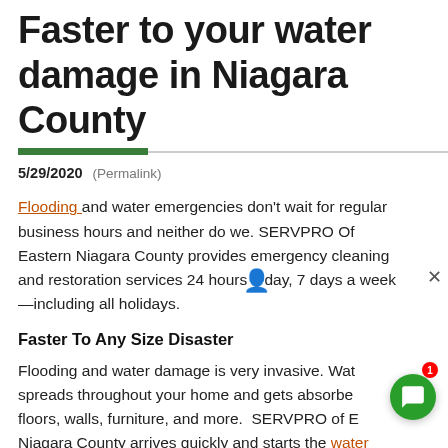Faster to your water damage in Niagara County
5/29/2020 (Permalink)
Flooding and water emergencies don't wait for regular business hours and neither do we. SERVPRO Of Eastern Niagara County provides emergency cleaning and restoration services 24 hours a day, 7 days a week—including all holidays.
Faster To Any Size Disaster
Flooding and water damage is very invasive. Water spreads throughout your home and gets absorbed into floors, walls, furniture, and more. SERVPRO of Eastern Niagara County arrives quickly and starts the water extraction process almost immediately. This immediate response helps to minimize the damage and the cleaning and restoration costs.